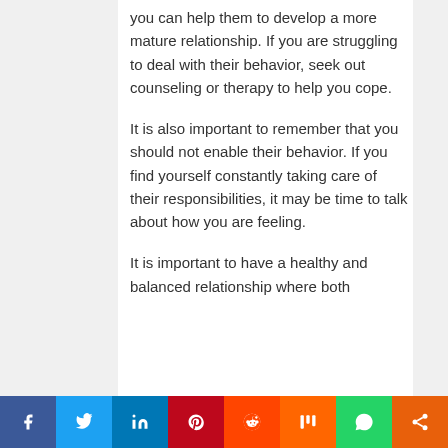you can help them to develop a more mature relationship. If you are struggling to deal with their behavior, seek out counseling or therapy to help you cope.

It is also important to remember that you should not enable their behavior. If you find yourself constantly taking care of their responsibilities, it may be time to talk about how you are feeling.

It is important to have a healthy and balanced relationship where both
[Figure (other): Social media share bar with buttons for Facebook, Twitter, LinkedIn, Pinterest, Reddit, Mix, WhatsApp, and a share icon]